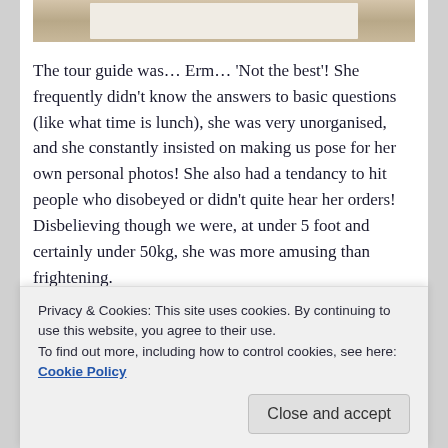[Figure (photo): Partial photo of person in white shirt, cropped at top of page]
The tour guide was… Erm… 'Not the best'! She frequently didn't know the answers to basic questions (like what time is lunch), she was very unorganised, and she constantly insisted on making us pose for her own personal photos! She also had a tendancy to hit people who disobeyed or didn't quite hear her orders! Disbelieving though we were, at under 5 foot and certainly under 50kg, she was more amusing than frightening.
[Figure (other): Red advertisement banner with REPORT THIS AD text]
Privacy & Cookies: This site uses cookies. By continuing to use this website, you agree to their use.
To find out more, including how to control cookies, see here: Cookie Policy
Close and accept
[Figure (photo): Partial photo strip at bottom showing people's faces]